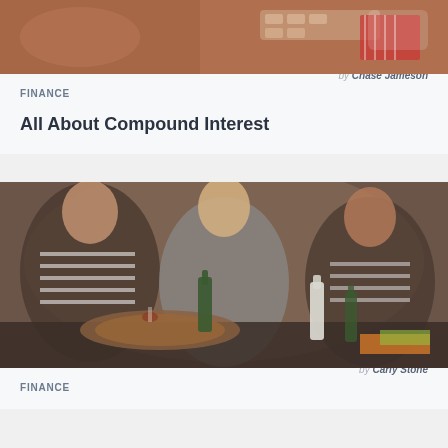[Figure (photo): Top portion of a photo showing a person at a computer with a red and white patterned item visible]
FINANCE
by Chase Jameson
All About Compound Interest
[Figure (photo): Three women gathered around a kitchen counter with food, drinks, and wine bottles]
FINANCE
by Carly Stone